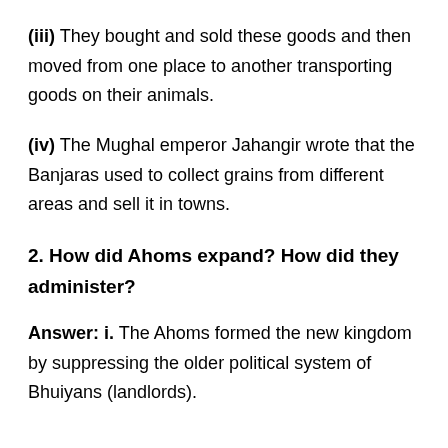(iii) They bought and sold these goods and then moved from one place to another transporting goods on their animals.
(iv) The Mughal emperor Jahangir wrote that the Banjaras used to collect grains from different areas and sell it in towns.
2. How did Ahoms expand? How did they administer?
Answer: i. The Ahoms formed the new kingdom by suppressing the older political system of Bhuiyans (landlords).